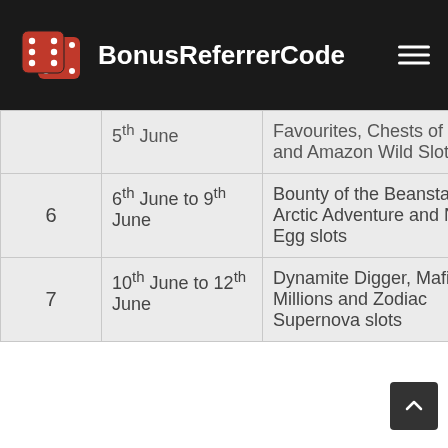BonusReferrerCode
| # | Date | Slots |
| --- | --- | --- |
|  | 5th June | Favourites, Chests of Plenty and Amazon Wild Slots |
| 6 | 6th June to 9th June | Bounty of the Beanstalk, Arctic Adventure and Nest Egg slots |
| 7 | 10th June to 12th June | Dynamite Digger, Mafia Millions and Zodiac Supernova slots |